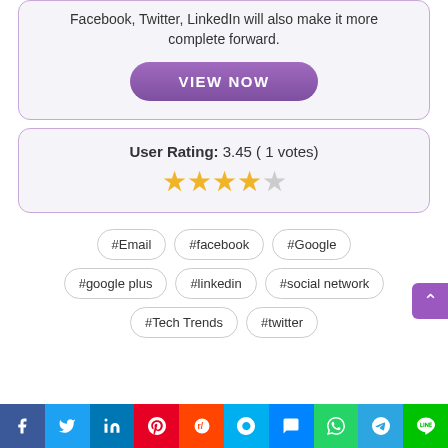Facebook, Twitter, LinkedIn will also make it more complete forward.
VIEW NOW
User Rating: 3.45 ( 1 votes)
#Email
#facebook
#Google
#google plus
#linkedin
#social network
#Tech Trends
#twitter
Facebook | Twitter | LinkedIn | Pinterest | Reddit | Skype | Messenger | WhatsApp | Telegram | Line